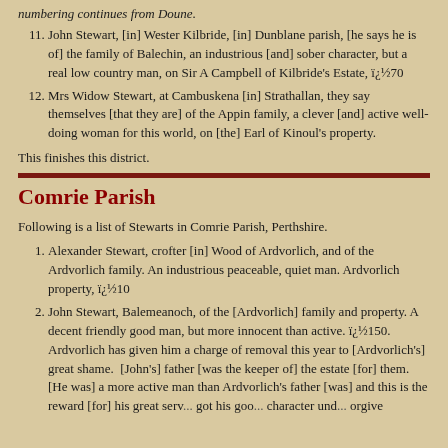numbering continues from Doune.
11. John Stewart, [in] Wester Kilbride, [in] Dunblane parish, [he says he is of] the family of Balechin, an industrious [and] sober character, but a real low country man, on Sir A Campbell of Kilbride's Estate, ï¿½70
12. Mrs Widow Stewart, at Cambuskena [in] Strathallan, they say themselves [that they are] of the Appin family, a clever [and] active well-doing woman for this world, on [the] Earl of Kinoul's property.
This finishes this district.
Comrie Parish
Following is a list of Stewarts in Comrie Parish, Perthshire.
1. Alexander Stewart, crofter [in] Wood of Ardvorlich, and of the Ardvorlich family. An industrious peaceable, quiet man. Ardvorlich property, ï¿½10
2. John Stewart, Balemeanoch, of the [Ardvorlich] family and property. A decent friendly good man, but more innocent than active. ï¿½150. Ardvorlich has given him a charge of removal this year to [Ardvorlich's] great shame. [John's] father [was the keeper of] the estate [for] them. [He was] a more active man than Ardvorlich's father [was] and this is the reward [for] his great service...got his good...character under...forgive